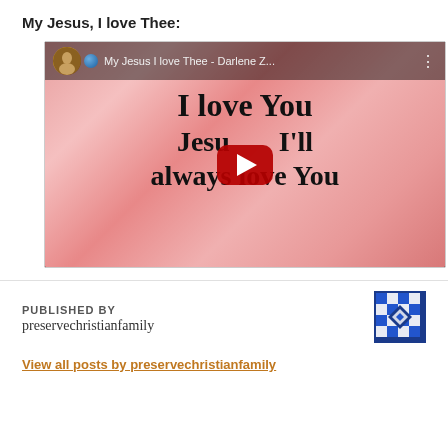My Jesus, I love Thee:
[Figure (screenshot): YouTube video embed thumbnail showing 'My Jesus I love Thee - Darlene Z...' with pink rose background and text 'I love You Jesus I'll always love You' with YouTube play button overlay]
PUBLISHED BY
preservechristianfamily
[Figure (logo): Blue and white geometric quilt-pattern logo icon for preservechristianfamily]
View all posts by preservechristianfamily